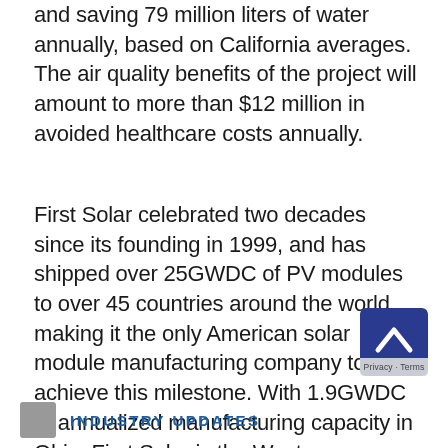and saving 79 million liters of water annually, based on California averages. The air quality benefits of the project will amount to more than $12 million in avoided healthcare costs annually.
First Solar celebrated two decades since its founding in 1999, and has shipped over 25GWDC of PV modules to over 45 countries around the world, making it the only American solar module manufacturing company to achieve this milestone. With 1.9GWDC of annualized manufacturing capacity in Ohio, First Solar is the Western Hemisphere's largest solar manufacturer. The Company also operates manufacturing facilities in Vietnam and Malaysia, with a global annualized Series 6 manufacturing capacity of 5.5GWDC.
INDUSTRY UPDATES